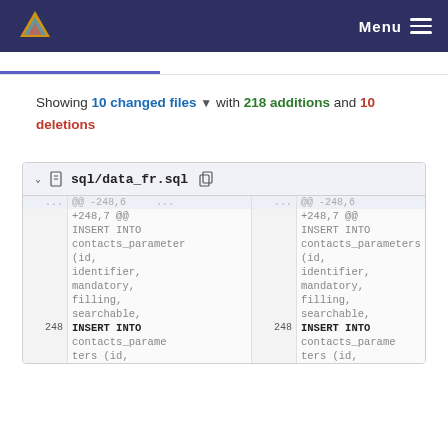Maarch  Menu
Showing 10 changed files with 218 additions and 10 deletions
sql/data_fr.sql
| line | left | line | right |
| --- | --- | --- | --- |
| ... | @@ -248,6 ...
+248,7 @@
INSERT INTO
contacts_parameter
(id,
identifier,
mandatory,
filling,
searchable, | ... | @@ -248,6 ...
+248,7 @@
INSERT INTO
contacts_parameters
(id,
identifier,
mandatory,
filling,
searchable, |
| 248 | INSERT INTO
contacts_parame
ters (id, | 248 | INSERT INTO
contacts_parame
ters (id, |